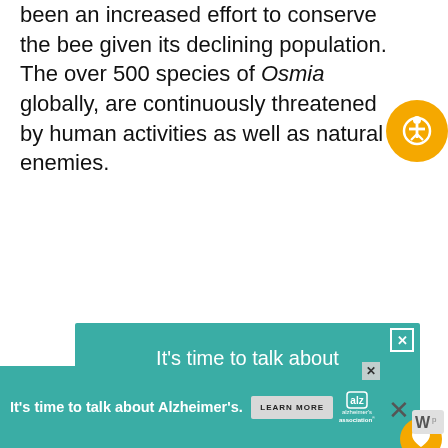been an increased effort to conserve the bee given its declining population. The over 500 species of Osmia globally, are continuously threatened by human activities as well as natural enemies.
[Figure (other): Advertisement for Alzheimer's Association: teal background with text 'It's time to talk about Alzheimer's.', LEARN MORE button, alz.org/ourstories URL, illustration of an elderly couple, and Alzheimer's Association logo.]
[Figure (other): Bottom banner advertisement for Alzheimer's Association: 'It's time to talk about Alzheimer's.' with LEARN MORE button and Alzheimer's Association logo.]